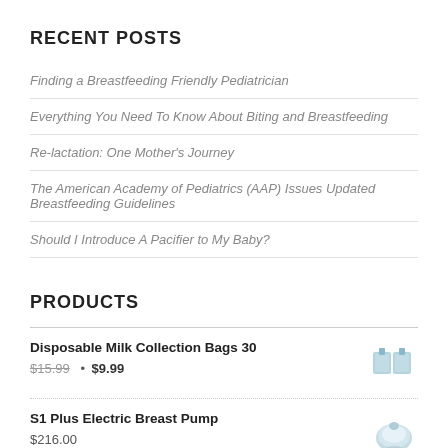RECENT POSTS
Finding a Breastfeeding Friendly Pediatrician
Everything You Need To Know About Biting and Breastfeeding
Re-lactation: One Mother's Journey
The American Academy of Pediatrics (AAP) Issues Updated Breastfeeding Guidelines
Should I Introduce A Pacifier to My Baby?
PRODUCTS
Disposable Milk Collection Bags 30
$15.99 • $9.99
S1 Plus Electric Breast Pump
$216.00